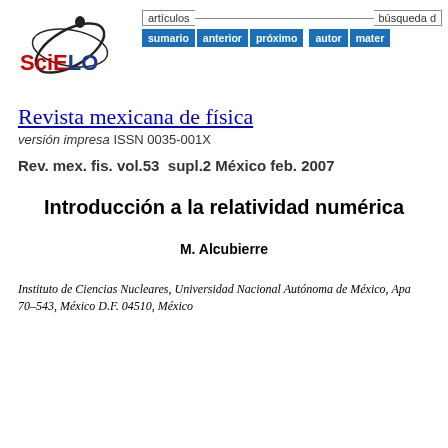[Figure (logo): SciELO logo with stylized orbital graphic in black and red/blue text]
artículos   búsqueda d   sumario  anterior  próximo  autor  mater
Revista mexicana de física
versión impresa ISSN 0035-001X
Rev. mex. fis. vol.53  supl.2 México feb. 2007
Introducción a la relatividad numérica
M. Alcubierre
Instituto de Ciencias Nucleares, Universidad Nacional Autónoma de México, Apa 70–543, México D.F. 04510, México